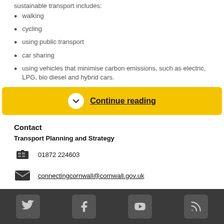sustainable transport includes:
walking
cycling
using public transport
car sharing
using vehicles that minimise carbon emissions, such as electric, LPG, bio diesel and hybrid cars.
Continue reading
Contact
Transport Planning and Strategy
01872 224603
connectingcornwall@cornwall.gov.uk